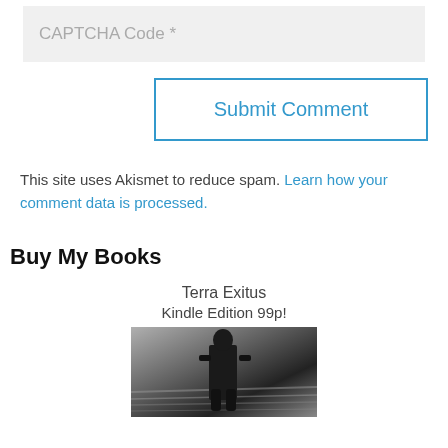CAPTCHA Code *
Submit Comment
This site uses Akismet to reduce spam. Learn how your comment data is processed.
Buy My Books
Terra Exitus
Kindle Edition 99p!
[Figure (photo): Black and white photo of a book cover for Terra Exitus, showing a dark silhouette figure]